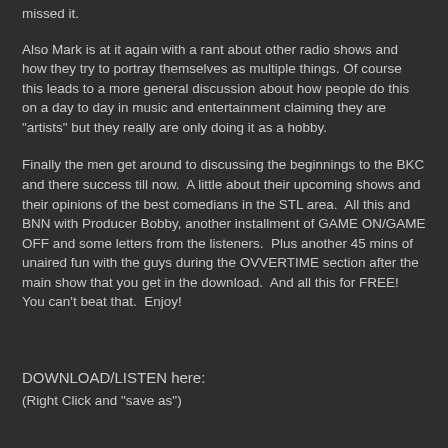missed it.
Also Mark is at it again with a rant about other radio shows and how they try to portray themselves as multiple things. Of course this leads to a more general discussion about how people do this on a day to day in music and entertainment claiming they are "artists" but they really are only doing it as a hobby.
Finally the men get around to discussing the beginnings to the BKC and there success till now.  A little about their upcoming shows and their opinions of the best comedians in the STL area.  All this and BNN with Producer Bobby, another installment of GAME ON/GAME OFF and some letters from the listeners.  Plus another 45 mins of unaired fun with the guys during the OVVERTIME section after the main show that you get in the download.  And all this for FREE!  You can't beat that.  Enjoy!
DOWNLOAD/LISTEN here:
(Right Click and "save as")